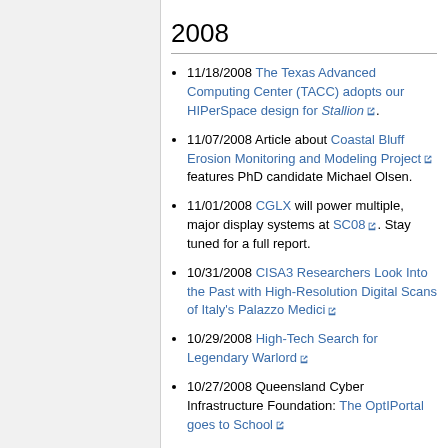2008
11/18/2008 The Texas Advanced Computing Center (TACC) adopts our HIPerSpace design for Stallion.
11/07/2008 Article about Coastal Bluff Erosion Monitoring and Modeling Project features PhD candidate Michael Olsen.
11/01/2008 CGLX will power multiple, major display systems at SC08. Stay tuned for a full report.
10/31/2008 CISA3 Researchers Look Into the Past with High-Resolution Digital Scans of Italy's Palazzo Medici
10/29/2008 High-Tech Search for Legendary Warlord
10/27/2008 Queensland Cyber Infrastructure Foundation: The OptIPortal goes to School
10/15/2008 Our visual analytics research will help drive The Search for the Hidden